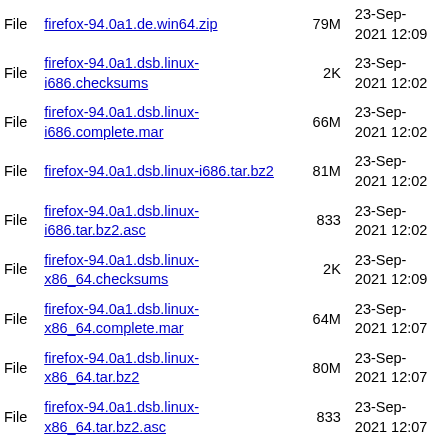| Type | Name | Size | Date |
| --- | --- | --- | --- |
| File | firefox-94.0a1.de.win64.zip | 79M | 23-Sep-2021 12:09 |
| File | firefox-94.0a1.dsb.linux-i686.checksums | 2K | 23-Sep-2021 12:02 |
| File | firefox-94.0a1.dsb.linux-i686.complete.mar | 66M | 23-Sep-2021 12:02 |
| File | firefox-94.0a1.dsb.linux-i686.tar.bz2 | 81M | 23-Sep-2021 12:02 |
| File | firefox-94.0a1.dsb.linux-i686.tar.bz2.asc | 833 | 23-Sep-2021 12:02 |
| File | firefox-94.0a1.dsb.linux-x86_64.checksums | 2K | 23-Sep-2021 12:09 |
| File | firefox-94.0a1.dsb.linux-x86_64.complete.mar | 64M | 23-Sep-2021 12:07 |
| File | firefox-94.0a1.dsb.linux-x86_64.tar.bz2 | 80M | 23-Sep-2021 12:07 |
| File | firefox-94.0a1.dsb.linux-x86_64.tar.bz2.asc | 833 | 23-Sep-2021 12:07 |
| File | firefox-94.0a1.dsb.mac.checksums | 2K | 23-Sep-2021 13:31 |
| File | firefox-94.0a1.dsb.mac.complete.mar | 101M | 23-Sep-2021 13:30 |
| File | firefox-94.0a1.dsb.mac.dmg | 135M | 23-Sep- |